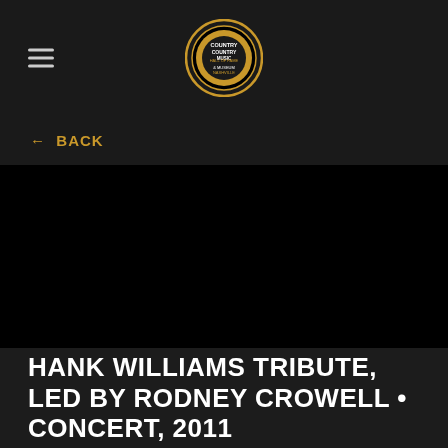Country Music Hall of Fame and Museum Nashville
← BACK
[Figure (photo): Black image area, appears to be a dark/unloaded concert photo]
HANK WILLIAMS TRIBUTE, LED BY RODNEY CROWELL • CONCERT, 2011